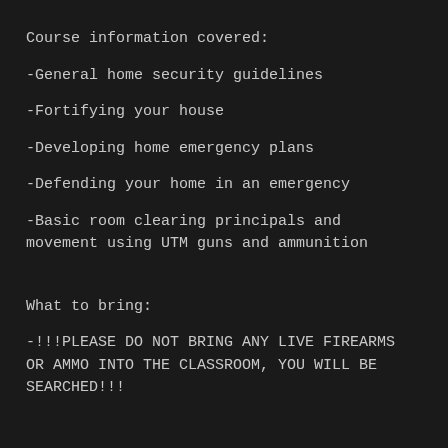Course information covered:
-General home security guidelines
-Fortifying your house
-Developing home emergency plans
-Defending your home in an emergency
-Basic room clearing principals and movement using UTM guns and ammunition
What to bring:
-!!!PLEASE DO NOT BRING ANY LIVE FIREARMS OR AMMO INTO THE CLASSROOM, YOU WILL BE SEARCHED!!!